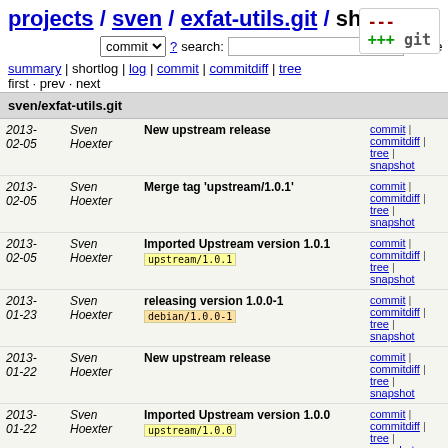projects / sven / exfat-utils.git / shortlog
commit search: re
summary | shortlog | log | commit | commitdiff | tree
first · prev · next
sven/exfat-utils.git
| Date | Author | Message | Links |
| --- | --- | --- | --- |
| 2013-02-05 | Sven Hoexter | New upstream release | commit | commitdiff | tree | snapshot |
| 2013-02-05 | Sven Hoexter | Merge tag 'upstream/1.0.1' | commit | commitdiff | tree | snapshot |
| 2013-02-05 | Sven Hoexter | Imported Upstream version 1.0.1 [upstream/1.0.1] | commit | commitdiff | tree | snapshot |
| 2013-01-23 | Sven Hoexter | releasing version 1.0.0-1 [debian/1.0.0-1] | commit | commitdiff | tree | snapshot |
| 2013-01-22 | Sven Hoexter | New upstream release | commit | commitdiff | tree | snapshot |
| 2013-01-22 | Sven Hoexter | Imported Upstream version 1.0.0 [upstream/1.0.0] | commit | commitdiff | tree | snapshot |
| 2013-01-22 | Sven Hoexter | Merge tag 'upstream/1.0.0' | commit | commitdiff | tree | snapshot |